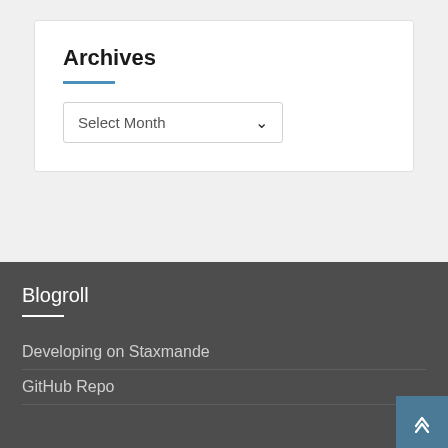Archives
Select Month
Blogroll
Developing on Staxmande
GitHub Repo